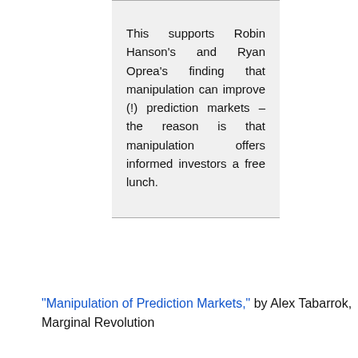This supports Robin Hanson's and Ryan Oprea's finding that manipulation can improve (!) prediction markets – the reason is that manipulation offers informed investors a free lunch.
"Manipulation of Prediction Markets," by Alex Tabarrok, Marginal Revolution